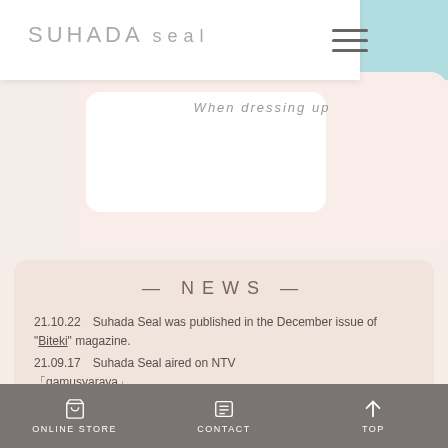SUHADA seal
When dressing up
— NEWS —
21.10.22  Suhada Seal was published in the December issue of "Biteki" magazine.
21.09.17  Suhada Seal aired on NTV 「gamusyaraya」
21.08.17  Created a video of how to apply and remove the bare skin stickers.
20.11.20  Suhada Seal AIR is now on sale
VIEW ALL
ONLINE STORE  CONTACT  TOP